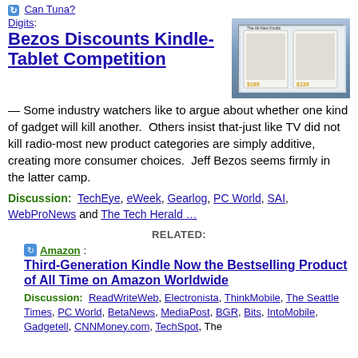Can Tuna?
Digits:
Bezos Discounts Kindle-Tablet Competition
[Figure (photo): Screenshot of Amazon Kindle product page showing Kindle devices with prices $189 and $139]
— Some industry watchers like to argue about whether one kind of gadget will kill another.  Others insist that-just like TV did not kill radio-most new product categories are simply additive, creating more consumer choices.  Jeff Bezos seems firmly in the latter camp.
Discussion:  TechEye, eWeek, Gearlog, PC World, SAI, WebProNews and The Tech Herald …
RELATED:
Amazon:
Third-Generation Kindle Now the Bestselling Product of All Time on Amazon Worldwide
Discussion:  ReadWriteWeb, Electronista, ThinkMobile, The Seattle Times, PC World, BetaNews, MediaPost, BGR, Bits, IntoMobile, Gadgetell, CNNMoney.com, TechSpot, The